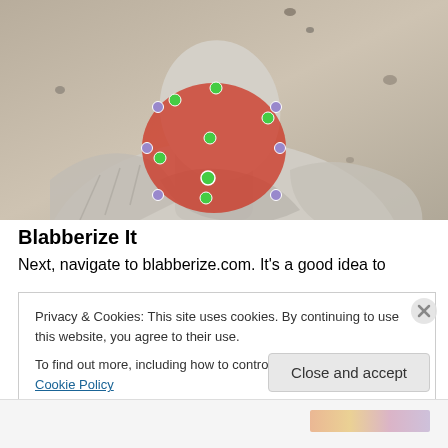[Figure (photo): Photo of a stone/marble statue bust, headless or face tilted upward, with a red elliptical overlay on the face area annotated with green and purple/blue control point dots, suggesting face annotation in an image editing tool. Background is a beige/tan wall.]
Blabberize It
Next, navigate to blabberize.com. It's a good idea to
Privacy & Cookies: This site uses cookies. By continuing to use this website, you agree to their use.
To find out more, including how to control cookies, see here: Cookie Policy
Close and accept